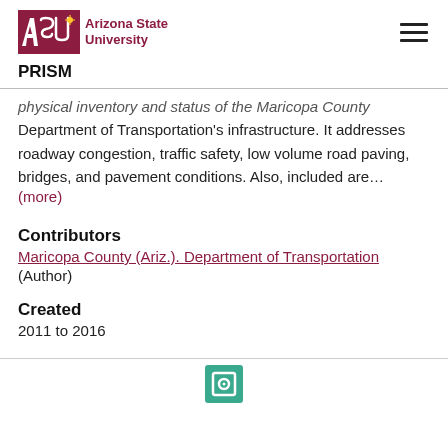ASU Arizona State University | PRISM
physical inventory and status of the Maricopa County Department of Transportation's infrastructure. It addresses roadway congestion, traffic safety, low volume road paving, bridges, and pavement conditions. Also, included are… (more)
Contributors
Maricopa County (Ariz.). Department of Transportation (Author)
Created
2011 to 2016